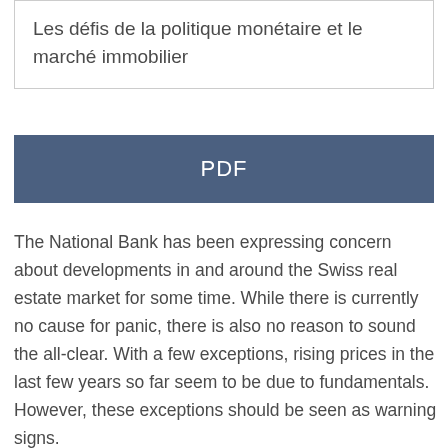Les défis de la politique monétaire et le marché immobilier
PDF
The National Bank has been expressing concern about developments in and around the Swiss real estate market for some time. While there is currently no cause for panic, there is also no reason to sound the all-clear. With a few exceptions, rising prices in the last few years so far seem to be due to fundamentals. However, these exceptions should be seen as warning signs.